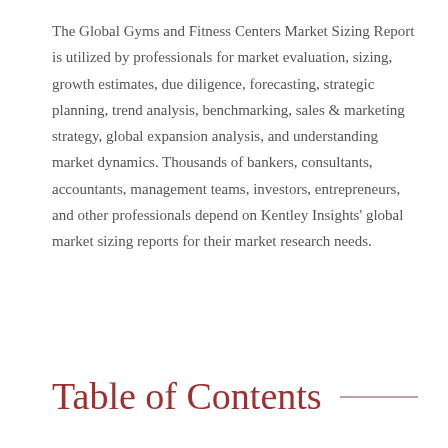The Global Gyms and Fitness Centers Market Sizing Report is utilized by professionals for market evaluation, sizing, growth estimates, due diligence, forecasting, strategic planning, trend analysis, benchmarking, sales & marketing strategy, global expansion analysis, and understanding market dynamics. Thousands of bankers, consultants, accountants, management teams, investors, entrepreneurs, and other professionals depend on Kentley Insights' global market sizing reports for their market research needs.
Table of Contents